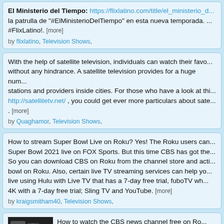El Ministerio del Tiempo: https://flixlatino.com/title/el_ministerio_d... la patrulla de "#ElMinisterioDelTiempo" en esta nueva temporada. ... #FlixLatino!. [more]
by flixlatino, Television Shows,
With the help of satellite television, individuals can watch their favorite programs without any hindrance. A satellite television provides for a huge number of stations and providers inside cities. For those who have a look at this http://satellitetv.net/ , you could get ever more particulars about sate... . [more]
by Quaghamor, Television Shows,
How to stream Super Bowl Live on Roku? Yes! The Roku users can... Super Bowl 2021 live on FOX Sports. But this time CBS has got the... So you can download CBS on Roku from the channel store and acti... bowl on Roku. Also, certain live TV streaming services can help yo... live using Hulu with Live TV that has a 7-day free trial, fuboTV wh... 4K with a 7-day free trial; Sling TV and YouTube. [more]
by kraigsmitham40, Television Shows,
How to watch the CBS news channel free on Ro... the CBS news channel app on your gadget to ac... free. To find the app, navigate to the device app... your search. You can select the compatible oth...